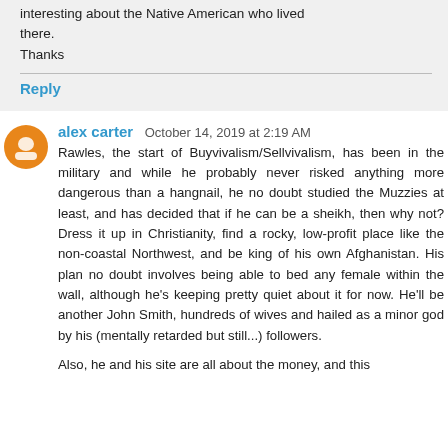interesting about the Native American who lived there.
Thanks
Reply
alex carter  October 14, 2019 at 2:19 AM
Rawles, the start of Buyvivalism/Sellvivalism, has been in the military and while he probably never risked anything more dangerous than a hangnail, he no doubt studied the Muzzies at least, and has decided that if he can be a sheikh, then why not? Dress it up in Christianity, find a rocky, low-profit place like the non-coastal Northwest, and be king of his own Afghanistan. His plan no doubt involves being able to bed any female within the wall, although he's keeping pretty quiet about it for now. He'll be another John Smith, hundreds of wives and hailed as a minor god by his (mentally retarded but still...) followers.
Also, he and his site are all about the money, and this